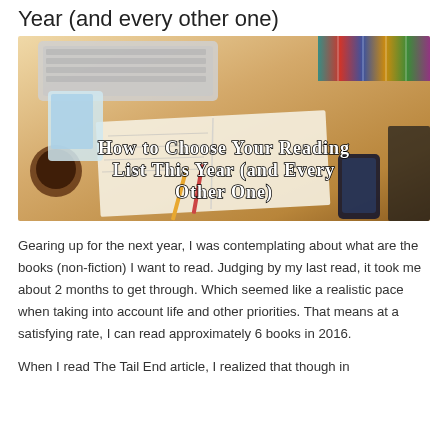Year (and every other one)
[Figure (photo): Overhead view of a desk with a keyboard, books, open notebook, pencils, a smartphone, and a coffee cup. White handwritten-style text overlay reads: How to Choose Your Reading List This Year (and Every Other One)]
Gearing up for the next year, I was contemplating about what are the books (non-fiction) I want to read. Judging by my last read, it took me about 2 months to get through. Which seemed like a realistic pace when taking into account life and other priorities.  That means at a satisfying rate, I can read approximately 6 books in 2016.
When I read The Tail End article, I realized that though in